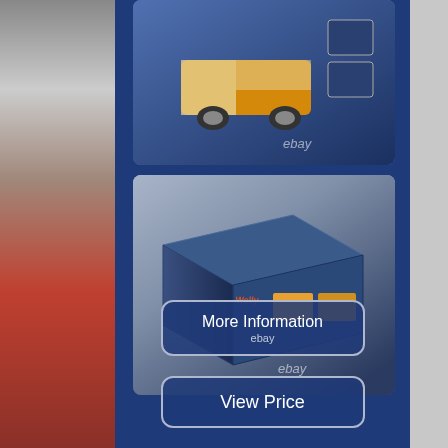[Figure (photo): eBay product listing page section showing two photos of a VW Bus / Volkswagen Transporter die-cast model toy in its blue product box, with 'More Information' and 'View Price' buttons at the bottom. A person (child) is partially visible on the left side strip.]
More Information
ebay
View Price